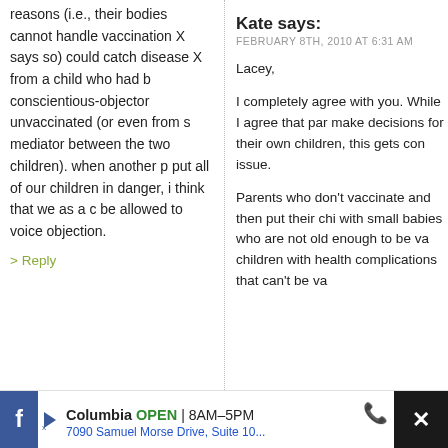reasons (i.e., their bodies cannot handle vaccination X says so) could catch disease X from a child who had b conscientious-objector unvaccinated (or even from s mediator between the two children). when another p put all of our children in danger, i think that we as a c be allowed to voice objection.
> Reply
Kate says:
FEBRUARY 8TH, 2010 AT 6:31 AM
Lacey,
I completely agree with you. While I agree that par make decisions for their own children, this gets con issue.
Parents who don't vaccinate and then put their chi with small babies who are not old enough to be va children with health complications that can't be va